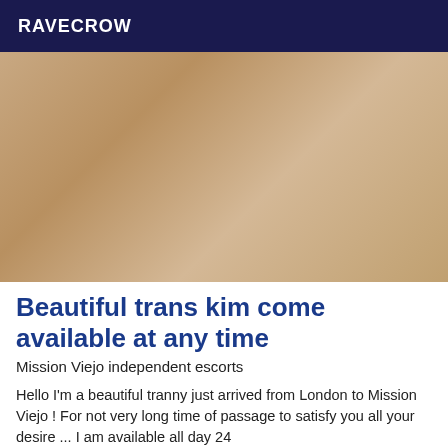RAVECROW
[Figure (photo): A person posing on a rug in front of a sofa with colorful cushions, wearing pink outfit and heels.]
Beautiful trans kim come available at any time
Mission Viejo independent escorts
Hello I'm a beautiful tranny just arrived from London to Mission Viejo ! For not very long time of passage to satisfy you all your desire ... I am available all day 24